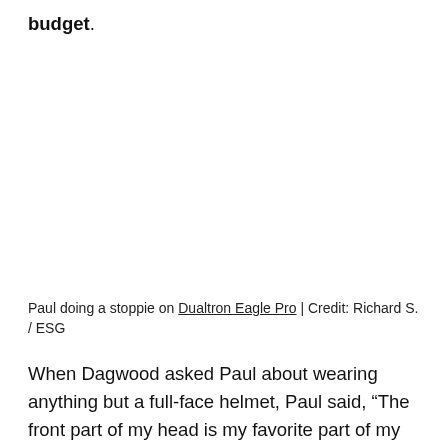budget.
Paul doing a stoppie on Dualtron Eagle Pro | Credit: Richard S. / ESG
When Dagwood asked Paul about wearing anything but a full-face helmet, Paul said, “The front part of my head is my favorite part of my head.” Dagwood agreed saying, “If you’ve got a $40 head, get a $40 helmet.”